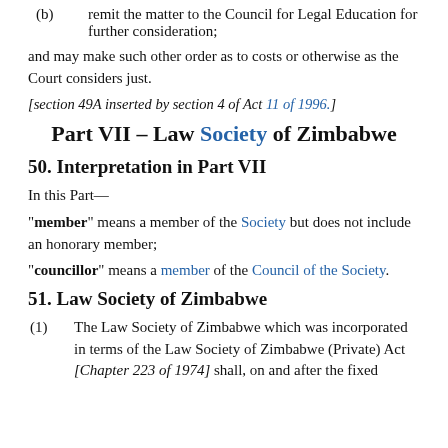(b) remit the matter to the Council for Legal Education for further consideration;
and may make such other order as to costs or otherwise as the Court considers just.
[section 49A inserted by section 4 of Act 11 of 1996.]
Part VII – Law Society of Zimbabwe
50. Interpretation in Part VII
In this Part—
"member" means a member of the Society but does not include an honorary member;
"councillor" means a member of the Council of the Society.
51. Law Society of Zimbabwe
(1) The Law Society of Zimbabwe which was incorporated in terms of the Law Society of Zimbabwe (Private) Act [Chapter 223 of 1974] shall, on and after the fixed